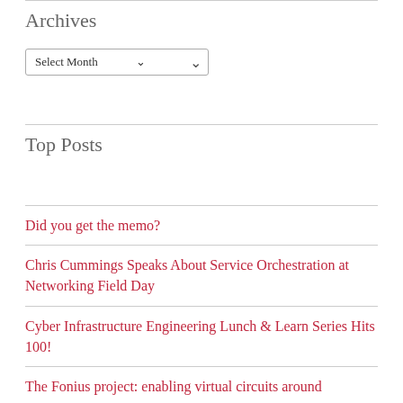Archives
[Figure (screenshot): A dropdown/select box showing 'Select Month' with a chevron arrow on the right]
Top Posts
Did you get the memo?
Chris Cummings Speaks About Service Orchestration at Networking Field Day
Cyber Infrastructure Engineering Lunch & Learn Series Hits 100!
The Fonius project: enabling virtual circuits around